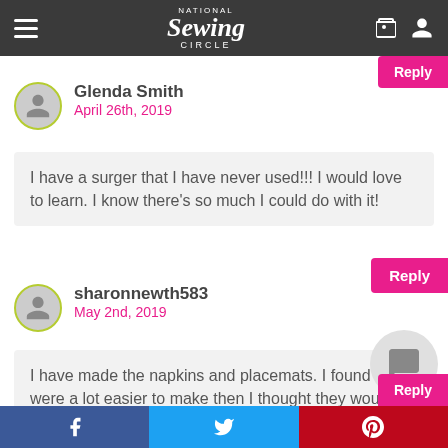National Sewing Circle
Glenda Smith
April 26th, 2019
I have a surger that I have never used!!! I would love to learn. I know there's so much I could do with it!
sharonnewth583
May 2nd, 2019
I have made the napkins and placemats. I found they were a lot easier to make then I thought they would be. Th...
f  Twitter  p